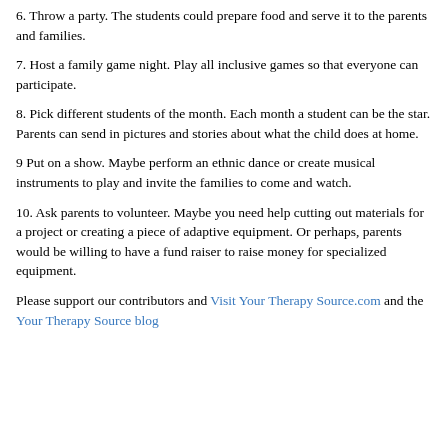6.  Throw a party.  The students could prepare food and serve it to the parents and families.
7.  Host a family game night.  Play all inclusive games so that everyone can participate.
8.  Pick different students of the month.  Each month a student can be the star.  Parents can send in pictures and stories about what the child does at home.
9  Put on a show.  Maybe perform an ethnic dance or create musical instruments to play and invite the families to come and watch.
10.  Ask parents to volunteer.  Maybe you need help cutting out materials for a project or creating a piece of adaptive equipment.  Or perhaps, parents would be willing to have a fund raiser to raise money for specialized equipment.
Please support our contributors and Visit Your Therapy Source.com and the Your Therapy Source blog